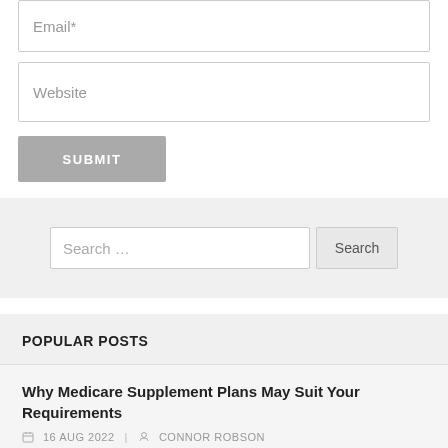Email*
Website
SUBMIT
Search ...
Search
POPULAR POSTS
Why Medicare Supplement Plans May Suit Your Requirements
16 AUG 2022 | CONNOR ROBSON